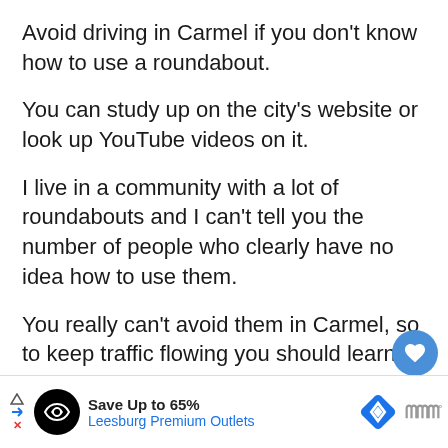Avoid driving in Carmel if you don't know how to use a roundabout.
You can study up on the city's website or look up YouTube videos on it.
I live in a community with a lot of roundabouts and I can't tell you the number of people who clearly have no idea how to use them.
You really can't avoid them in Carmel, so to keep traffic flowing you should learn how they work.
[Figure (screenshot): Ad banner: Save Up to 65% Leesburg Premium Outlets with black circular logo, blue diamond arrow icon, and Marriott Bonvoy logo]